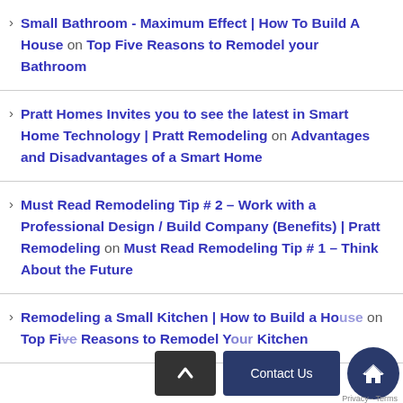Small Bathroom - Maximum Effect | How To Build A House on Top Five Reasons to Remodel your Bathroom
Pratt Homes Invites you to see the latest in Smart Home Technology | Pratt Remodeling on Advantages and Disadvantages of a Smart Home
Must Read Remodeling Tip # 2 – Work with a Professional Design / Build Company (Benefits) | Pratt Remodeling on Must Read Remodeling Tip # 1 – Think About the Future
Remodeling a Small Kitchen | How to Build a House on Top Five Reasons to Remodel Your Kitchen